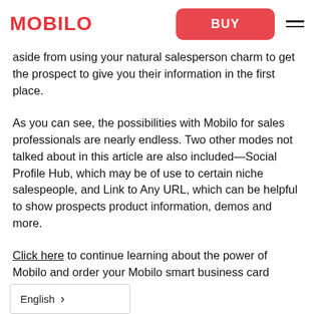MOBILO | BUY
aside from using your natural salesperson charm to get the prospect to give you their information in the first place.
As you can see, the possibilities with Mobilo for sales professionals are nearly endless. Two other modes not talked about in this article are also included—Social Profile Hub, which may be of use to certain niche salespeople, and Link to Any URL, which can be helpful to show prospects product information, demos and more.
Click here to continue learning about the power of Mobilo and order your Mobilo smart business card today.
English >